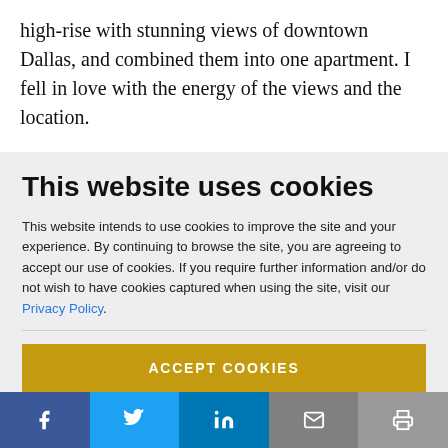high-rise with stunning views of downtown Dallas, and combined them into one apartment. I fell in love with the energy of the views and the location.

As it turns out, I can get two adjoining spaces in the same building with slightly different views but still that
This website uses cookies
This website intends to use cookies to improve the site and your experience. By continuing to browse the site, you are agreeing to accept our use of cookies. If you require further information and/or do not wish to have cookies captured when using the site, visit our Privacy Policy.
ACCEPT COOKIES
[Figure (infographic): Social sharing bar with Facebook, Twitter, LinkedIn, email, and print icons]